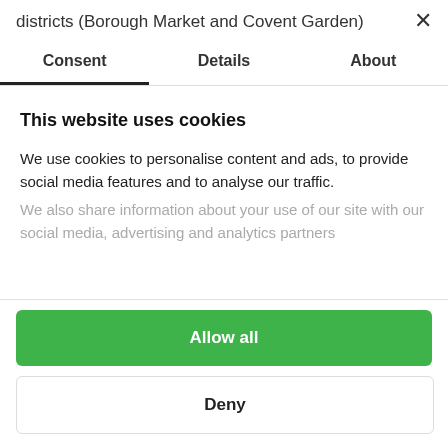districts (Borough Market and Covent Garden)
Consent | Details | About
This website uses cookies
We use cookies to personalise content and ads, to provide social media features and to analyse our traffic.
We also share information about your use of our site with our social media, advertising and analytics partners
Allow all
Deny